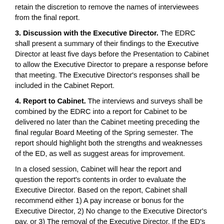retain the discretion to remove the names of interviewees from the final report.
3. Discussion with the Executive Director. The EDRC shall present a summary of their findings to the Executive Director at least five days before the Presentation to Cabinet to allow the Executive Director to prepare a response before that meeting. The Executive Director's responses shall be included in the Cabinet Report.
4. Report to Cabinet. The interviews and surveys shall be combined by the EDRC into a report for Cabinet to be delivered no later than the Cabinet meeting preceding the final regular Board Meeting of the Spring semester. The report should highlight both the strengths and weaknesses of the ED, as well as suggest areas for improvement.
In a closed session, Cabinet will hear the report and question the report's contents in order to evaluate the Executive Director. Based on the report, Cabinet shall recommend either 1) A pay increase or bonus for the Executive Director, 2) No change to the Executive Director's pay, or 3) The removal of the Executive Director. If the ED's performance is deemed satisfactory, Cabinet shall produce a list of specific Yearly Goals for the Executive Director. These goals shall then be approved by Cabinet and sent to Board. After this meeting, the President shall summarize the contents of the original report and the discussion at Cabinet to share with the Board.
5. Board Presentation. At the last regular meeting of the Board...